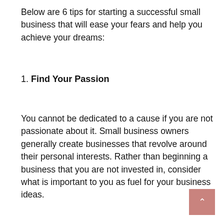Below are 6 tips for starting a successful small business that will ease your fears and help you achieve your dreams:
1. Find Your Passion
You cannot be dedicated to a cause if you are not passionate about it. Small business owners generally create businesses that revolve around their personal interests. Rather than beginning a business that you are not invested in, consider what is important to you as fuel for your business ideas.